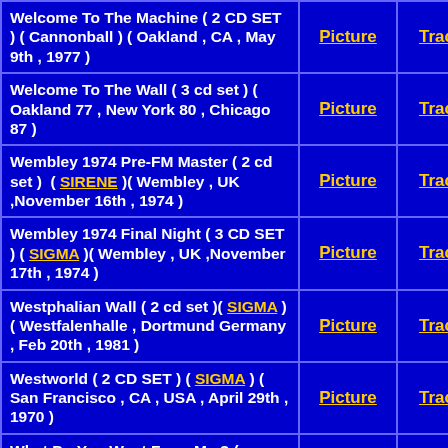| Title | Picture | Tracks |
| --- | --- | --- |
| Welcome To The Machine ( 2 CD SET ) ( Cannonball ) ( Oakland , CA , May 9th , 1977 ) | Picture | Tracks |
| Welcome To The Wall ( 3 cd set ) ( Oakland 77 , New York 80 , Chicago 87 ) | Picture | Tracks |
| Wembley 1974 Pre-FM Master ( 2 cd set )  ( SIRENE )( Wembley , UK ,November 16th , 1974 ) | Picture | Tracks |
| Wembley 1974 Final Night ( 3 CD SET ) ( SIGMA )( Wembley , UK ,November 17th , 1974 ) | Picture | Tracks |
| Westphalian Wall ( 2 cd set )( SIGMA )( Westfalenhalle , Dortmund Germany , Feb 20th , 1981 ) | Picture | Tracks |
| Westworld ( 2 CD SET ) ( SIGMA ) ( San Francisco , CA , USA , April 29th , 1970 ) | Picture | Tracks |
| What Do You Want From Me ? ( Ehrfeld , Leouen Austria , August 18th ... | Picture | Tracks |